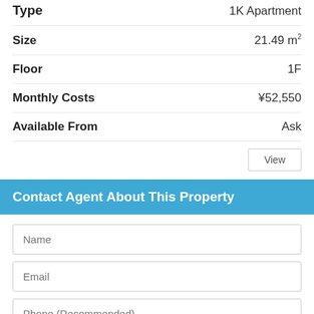| Field | Value |
| --- | --- |
| Type | 1K Apartment |
| Size | 21.49 m² |
| Floor | 1F |
| Monthly Costs | ¥52,550 |
| Available From | Ask |
Contact Agent About This Property
Name
Email
Phone (Recommended)
Request details about this property and provide some informa... We send your message to the agent directly and they will be in... with you as soon as possible.